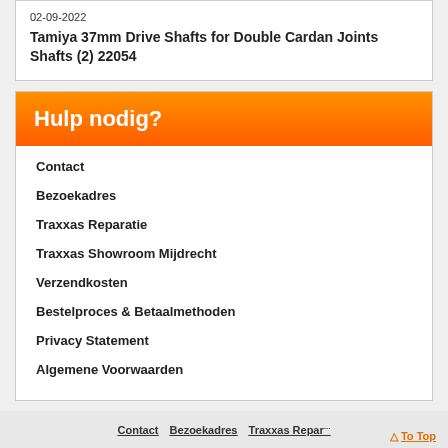02-09-2022
Tamiya 37mm Drive Shafts for Double Cardan Joints Shafts (2) 22054
Hulp nodig?
Contact
Bezoekadres
Traxxas Reparatie
Traxxas Showroom Mijdrecht
Verzendkosten
Bestelproces & Betaalmethoden
Privacy Statement
Algemene Voorwaarden
Contact  Bezoekadres  Traxxas Reparatie  Traxxas Showroom Mijdrecht  To Top
[Figure (logo): Payment method logos: PostNL, iDEAL, Bitcoin]
Copyright ... 2022 The Rookie Online RC Shop